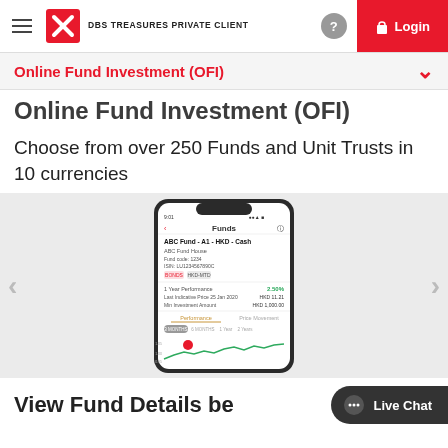DBS TREASURES PRIVATE CLIENT — Login
Online Fund Investment (OFI)
Online Fund Investment (OFI)
Choose from over 250 Funds and Unit Trusts in 10 currencies
[Figure (screenshot): Mobile phone screen showing DBS Treasures app Funds detail page for ABC Fund - A1 - HKD - Cash, ABC Fund House, Fund code 1234, ISIN LU1234567890, showing 1 Year Performance of 2.50%, Last Indicative Price as of 25 Jan 2020, Min Investment Amount HKD 1,000.00, with Performance and Price Movement tabs and a line chart for 3 MONTHS, 6 MONTHS, 1 YEAR, 2 YEARS periods]
View Fund Details be...
Live Chat